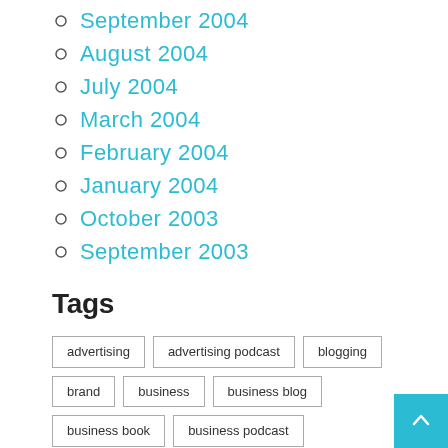September 2004
August 2004
July 2004
March 2004
February 2004
January 2004
October 2003
September 2003
Tags
advertising  advertising podcast  blogging  brand  business  business blog  business book  business podcast  business strategy  content  creativity  ctrl alt delete  david usher